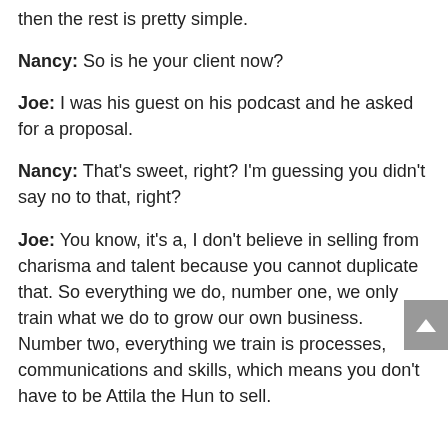then the rest is pretty simple.
Nancy: So is he your client now?
Joe: I was his guest on his podcast and he asked for a proposal.
Nancy: That's sweet, right? I'm guessing you didn't say no to that, right?
Joe: You know, it's a, I don't believe in selling from charisma and talent because you cannot duplicate that. So everything we do, number one, we only train what we do to grow our own business. Number two, everything we train is processes, communications and skills, which means you don't have to be Attila the Hun to sell.